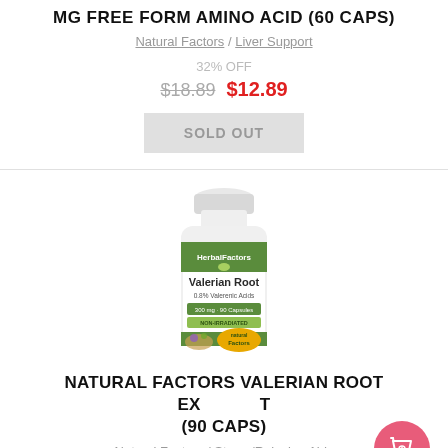MG FREE FORM AMINO ACID (60 CAPS)
Natural Factors / Liver Support
32% OFF
$18.89 $12.89
SOLD OUT
[Figure (photo): Bottle of Natural Factors Valerian Root extract supplement, 300mg 90 Capsules, with green and white label showing HerbalFactors branding and Natural Factors logo]
NATURAL FACTORS VALERIAN ROOT EXTRACT (90 CAPS)
Natural Factors / Stress/Relaxing Aids